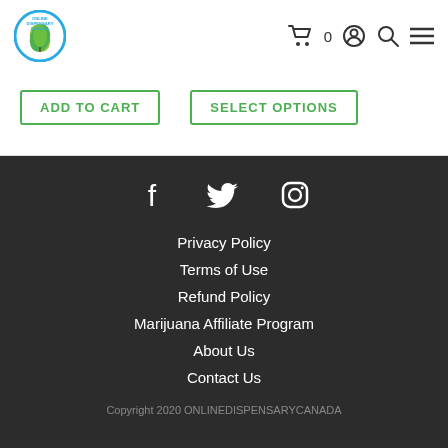Online Dispensary Canada — ADD TO CART | SELECT OPTIONS
Privacy Policy
Terms of Use
Refund Policy
Marijuana Affiliate Program
About Us
Contact Us
Copyright 2020 ONLINEDISPENSARYCANADA